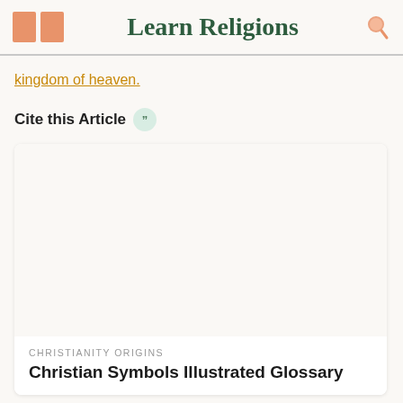Learn Religions
kingdom of heaven.
Cite this Article
[Figure (other): Blank image placeholder card for article preview]
CHRISTIANITY ORIGINS
Christian Symbols Illustrated Glossary